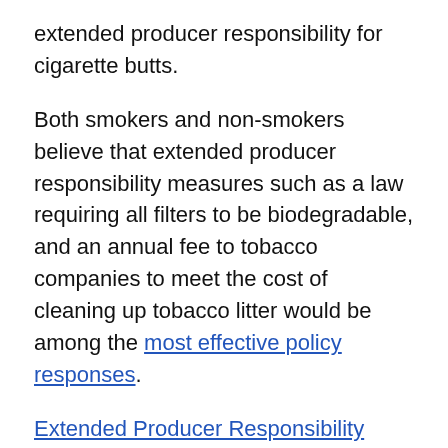extended producer responsibility for cigarette butts.
Both smokers and non-smokers believe that extended producer responsibility measures such as a law requiring all filters to be biodegradable, and an annual fee to tobacco companies to meet the cost of cleaning up tobacco litter would be among the most effective policy responses.
Extended Producer Responsibility (EPR) requires total lifecycle environmental improvements and places liability, economic and financial, physical and informational responsibilities onto the manufacturers of the waste product. This is distinct from Product Stewardship, which extends responsibility to all parties involved in the life cycle of the product. Both usually involve